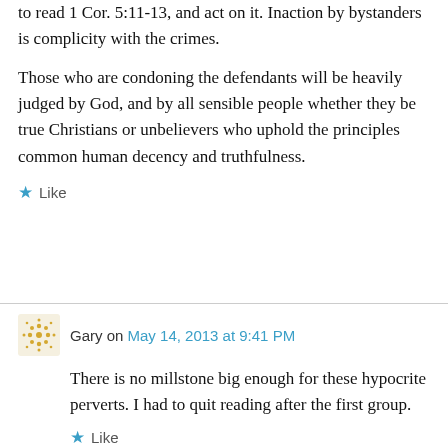to read 1 Cor. 5:11-13, and act on it. Inaction by bystanders is complicity with the crimes.
Those who are condoning the defendants will be heavily judged by God, and by all sensible people whether they be true Christians or unbelievers who uphold the principles common human decency and truthfulness.
★ Like
Gary on May 14, 2013 at 9:41 PM
There is no millstone big enough for these hypocrite perverts. I had to quit reading after the first group.
★ Like